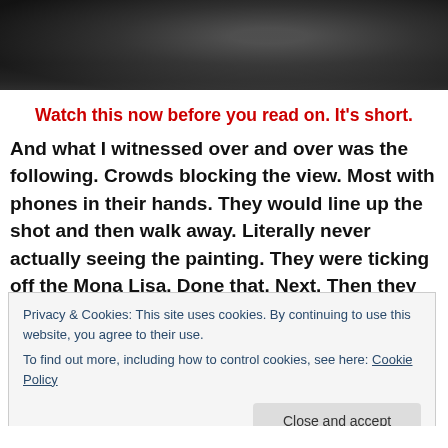[Figure (photo): Black and white close-up photo, dark tones, textured surface visible at top of page]
Watch this now before you read on. It's short.
And what I witnessed over and over was the following. Crowds blocking the view. Most with phones in their hands. They would line up the shot and then walk away. Literally never actually seeing the painting. They were ticking off the Mona Lisa. Done that. Next. Then they would post their photo on social media. Get a host of 'likes' and 'hearts'. Feel the mini dopamine
Privacy & Cookies: This site uses cookies. By continuing to use this website, you agree to their use.
To find out more, including how to control cookies, see here: Cookie Policy
Close and accept